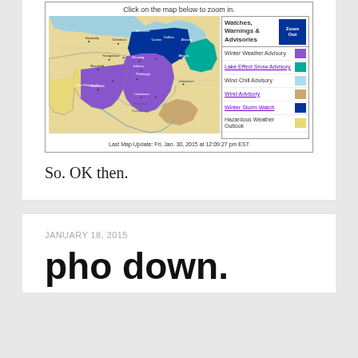[Figure (map): NWS weather map showing winter weather watches, warnings and advisories for Ohio and Pennsylvania region. Areas highlighted in purple (Winter Weather Advisory), teal (Lake Effect Snow Advisory), light blue (Wind Chill Advisory), tan (Wind Advisory), dark blue (Winter Storm Watch), and yellow (Hazardous Weather Outlook). Last Map Update: Fri, Jan. 30, 2015 at 12:09:27 pm EST]
So. OK then.
JANUARY 18, 2015
pho down.